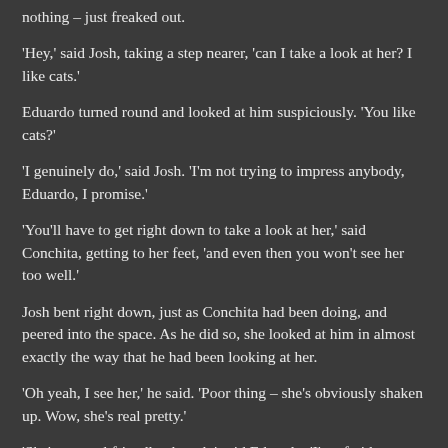nothing – just freaked out.
'Hey,' said Josh, taking a step nearer, 'can I take a look at her?  I like cats.'
Eduardo turned round and looked at him suspiciously.  'You like cats?'
'I genuinely do,' said Josh.  'I'm not trying to impress anybody, Eduardo, I promise.'
'You'll have to get right down to take a look at her,' said Conchita, getting to her feet, 'and even then you won't see her too well.'
Josh bent right down, just as Conchita had been doing, and peered into the space.  As he did so, she looked at him in almost exactly the way that he had been looking at her.
'Oh yeah, I see her,' he said.  'Poor thing – she's obviously shaken up.  Wow, she's real pretty.'
'She's not real friendly, though,' said Eduardo.  'I'm afraid you won't be